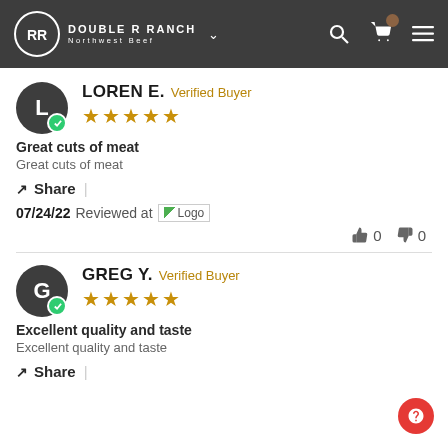DOUBLE R RANCH Northwest Beef
LOREN E. Verified Buyer ★★★★★
Great cuts of meat
Great cuts of meat
Share |
07/24/22 Reviewed at Logo
👍 0  👎 0
GREG Y. Verified Buyer ★★★★★
Excellent quality and taste
Excellent quality and taste
Share |